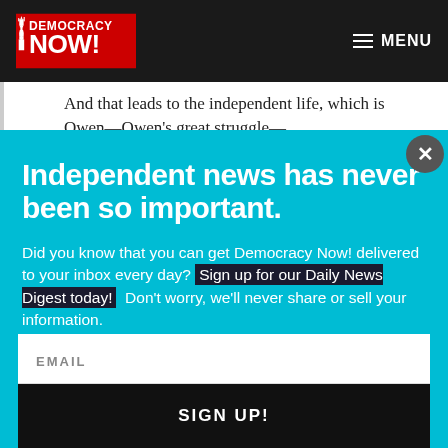Democracy Now! — MENU
And that leads to the independent life, which is Owen—Owen's great struggle—
Independent news has never been so important.
Did you know that you can get Democracy Now! delivered to your inbox every day? Sign up for our Daily News Digest today! Don't worry, we'll never share or sell your information.
EMAIL
SIGN UP!